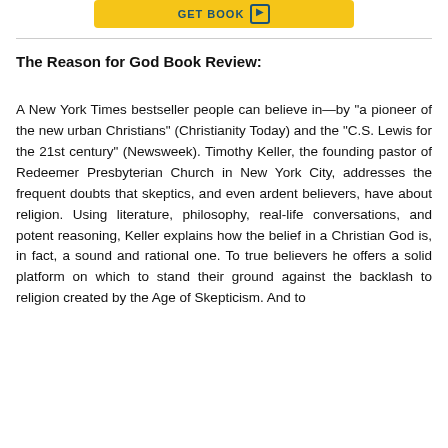[Figure (other): Yellow 'GET BOOK' button with right arrow icon in blue border]
The Reason for God Book Review:
A New York Times bestseller people can believe in—by "a pioneer of the new urban Christians" (Christianity Today) and the "C.S. Lewis for the 21st century" (Newsweek). Timothy Keller, the founding pastor of Redeemer Presbyterian Church in New York City, addresses the frequent doubts that skeptics, and even ardent believers, have about religion. Using literature, philosophy, real-life conversations, and potent reasoning, Keller explains how the belief in a Christian God is, in fact, a sound and rational one. To true believers he offers a solid platform on which to stand their ground against the backlash to religion created by the Age of Skepticism. And to